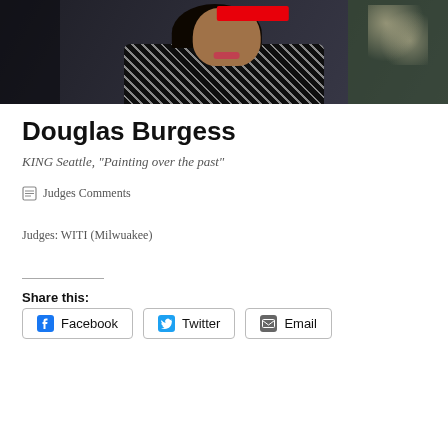[Figure (photo): Cropped photo of a woman in a black and white geometric patterned outfit, with a red redaction bar over the top of her face, shot in an indoor setting with soft background lighting and greenery.]
Douglas Burgess
KING Seattle, "Painting over the past"
Judges Comments
Judges: WITI (Milwuakee)
Share this:
Facebook
Twitter
Email